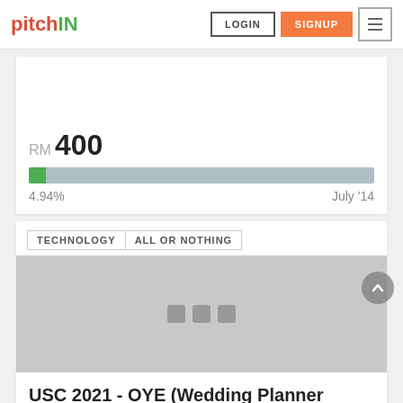pitchIN — LOGIN SIGNUP
RM 400
[Figure (other): Progress bar showing 4.94% funded]
4.94%    July '14
TECHNOLOGY   ALL OR NOTHING
[Figure (photo): Gray placeholder image with three loading dots]
USC 2021 - OYE (Wedding Planner Solution and Marketplace)
We want to provide a better solution for the couples in self-planning their wedding. We believe